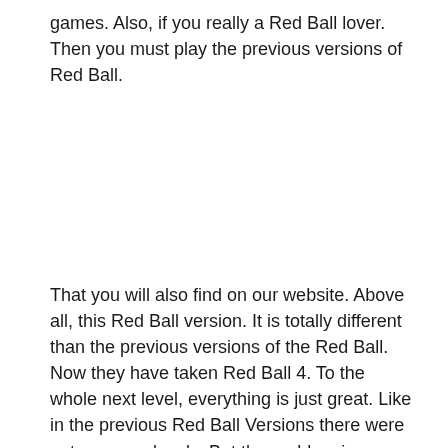games. Also, if you really a Red Ball lover. Then you must play the previous versions of Red Ball.
That you will also find on our website. Above all, this Red Ball version. It is totally different than the previous versions of the Red Ball. Now they have taken Red Ball 4. To the whole next level, everything is just great. Like in the previous Red Ball Versions there were not so many levels. But the problem is solved. Now in this Red Ball, you can play more than